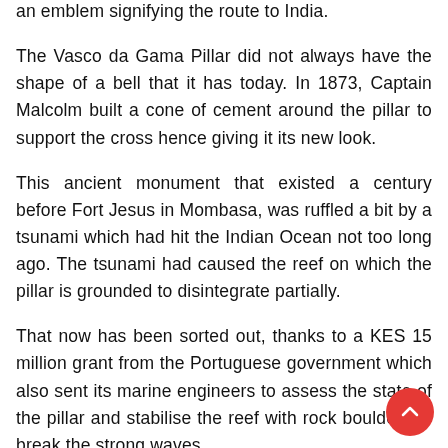The Vasco da Gama Pillar did not always have the shape of a bell that it has today. In 1873, Captain Malcolm built a cone of cement around the pillar to support the cross hence giving it its new look.
This ancient monument that existed a century before Fort Jesus in Mombasa, was ruffled a bit by a tsunami which had hit the Indian Ocean not too long ago. The tsunami had caused the reef on which the pillar is grounded to disintegrate partially.
That now has been sorted out, thanks to a KES 15 million grant from the Portuguese government which also sent its marine engineers to assess the state of the pillar and stabilise the reef with rock boulders to break the strong waves.
Nowadays, I think the pillar serves no critical role at